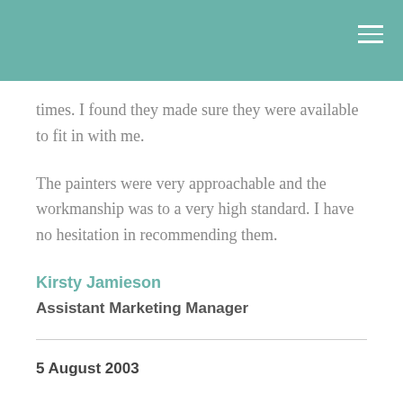times. I found they made sure they were available to fit in with me.
The painters were very approachable and the workmanship was to a very high standard. I have no hesitation in recommending them.
Kirsty Jamieson
Assistant Marketing Manager
5 August 2003
Our home at 2/87a Bassett Road, Remuera, Auckland was